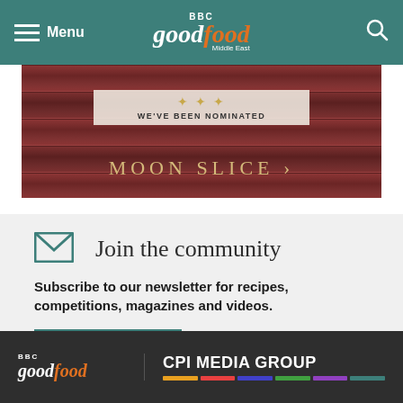Menu | BBC Good Food Middle East | Search
[Figure (photo): Banner advertisement for Moon Slice showing stacked brown boxes/pizza boxes with text 'WE'VE BEEN NOMINATED' and 'MOON SLICE' in gold letters]
Join the community
Subscribe to our newsletter for recipes, competitions, magazines and videos.
Subscribe Now
BBC Good Food | CPI MEDIA GROUP